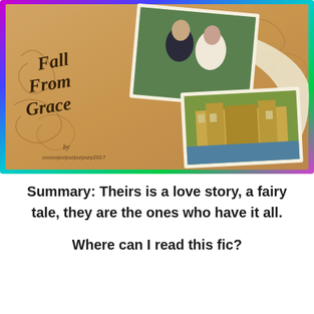[Figure (illustration): Book cover image titled 'Fall From Grace' on a parchment/tan background with decorative scrollwork. Contains two framed photos: one of a man and woman in period costume (Regency era), and one of a grand estate building with fountains. Rainbow/galaxy sparkle border surrounds the cover. Author credit text at bottom left.]
Summary: Theirs is a love story, a fairy tale, they are the ones who have it all.
Where can I read this fic?